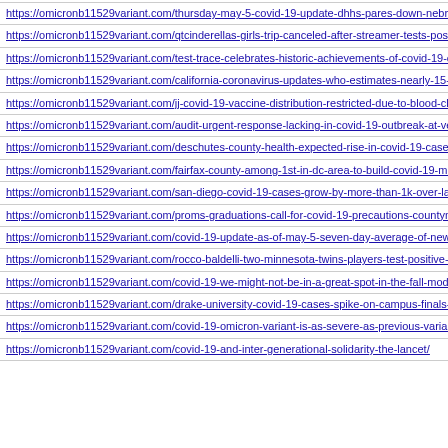https://omicronb11529variant.com/thursday-may-5-covid-19-update-dhhs-pares-down-nebraska-da
https://omicronb11529variant.com/qtcinderellas-girls-trip-canceled-after-streamer-tests-positive-fo
https://omicronb11529variant.com/test-trace-celebrates-historic-achievements-of-covid-19-contact-
https://omicronb11529variant.com/california-coronavirus-updates-who-estimates-nearly-15-million
https://omicronb11529variant.com/jj-covid-19-vaccine-distribution-restricted-due-to-blood-clot-risk
https://omicronb11529variant.com/audit-urgent-response-lacking-in-covid-19-outbreak-at-veterans-
https://omicronb11529variant.com/deschutes-county-health-expected-rise-in-covid-19-cases-some-
https://omicronb11529variant.com/fairfax-county-among-1st-in-dc-area-to-build-covid-19-memoria
https://omicronb11529variant.com/san-diego-covid-19-cases-grow-by-more-than-1k-over-last-weel
https://omicronb11529variant.com/proms-graduations-call-for-covid-19-precautions-countynewsce
https://omicronb11529variant.com/covid-19-update-as-of-may-5-seven-day-average-of-new-cases-
https://omicronb11529variant.com/rocco-baldelli-two-minnesota-twins-players-test-positive-for-co
https://omicronb11529variant.com/covid-19-we-might-not-be-in-a-great-spot-in-the-fall-moderna-c
https://omicronb11529variant.com/drake-university-covid-19-cases-spike-on-campus-finals-to-be-c
https://omicronb11529variant.com/covid-19-omicron-variant-is-as-severe-as-previous-variants-stuc
https://omicronb11529variant.com/covid-19-and-inter-generational-solidarity-the-lancet/